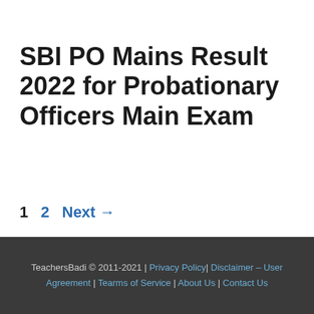SBI PO Mains Result 2022 for Probationary Officers Main Exam
1  2  Next →
TeachersBadi © 2011-2021 | Privacy Policy | Disclaimer – User Agreement | Tearms of Service | About Us | Contact Us